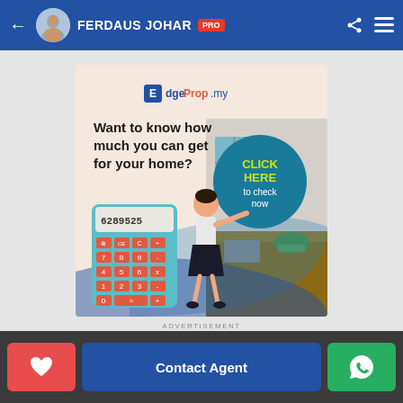FERDAUS JOHAR PRO
[Figure (infographic): EdgeProp.my advertisement banner. Text reads: Want to know how much you can get for your home? CLICK HERE to check now. Shows an illustration of a woman with a large calculator showing 6289525, alongside a kitchen interior photo. Teal circle CTA button with yellow CLICK HERE text.]
ADVERTISEMENT
Contact Agent